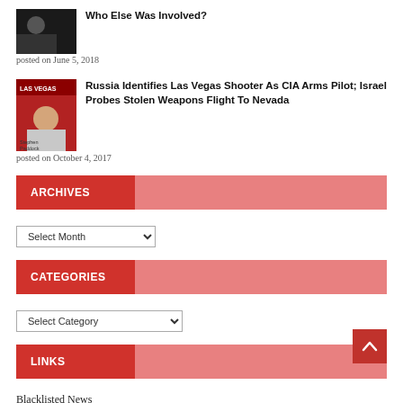Who Else Was Involved?
posted on June 5, 2018
[Figure (photo): Black and white photo thumbnail]
Russia Identifies Las Vegas Shooter As CIA Arms Pilot; Israel Probes Stolen Weapons Flight To Nevada
posted on October 4, 2017
[Figure (photo): Photo of Stephen Paddock with Las Vegas overlay text]
ARCHIVES
Select Month
CATEGORIES
Select Category
LINKS
Blacklisted News